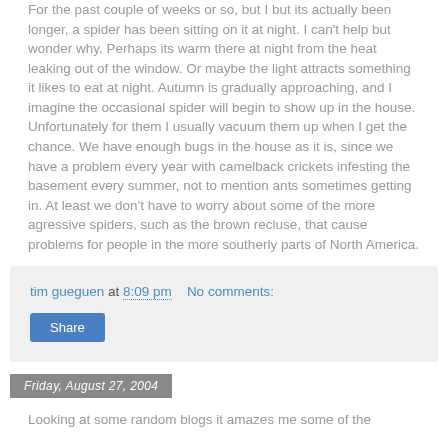For the past couple of weeks or so, but I but its actually been longer, a spider has been sitting on it at night. I can't help but wonder why. Perhaps its warm there at night from the heat leaking out of the window. Or maybe the light attracts something it likes to eat at night. Autumn is gradually approaching, and I imagine the occasional spider will begin to show up in the house. Unfortunately for them I usually vacuum them up when I get the chance. We have enough bugs in the house as it is, since we have a problem every year with camelback crickets infesting the basement every summer, not to mention ants sometimes getting in. At least we don't have to worry about some of the more agressive spiders, such as the brown recluse, that cause problems for people in the more southerly parts of North America.
tim gueguen at 8:09 pm   No comments:
Share
Friday, August 27, 2004
Looking at some random blogs it amazes me some of the